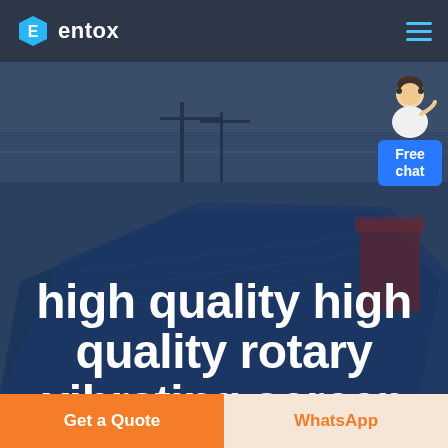[Figure (logo): Entox company logo with blue hexagon shield icon and white text 'entox']
[Figure (photo): Aerial view of an industrial facility or construction site with blue rooftop structure, seen from above, overlaid with dark blue tint]
high quality high quality rotary vibrating screen
[Figure (illustration): Customer service representative widget with 'Free chat' button in blue]
Get a Quote
WhatsApp